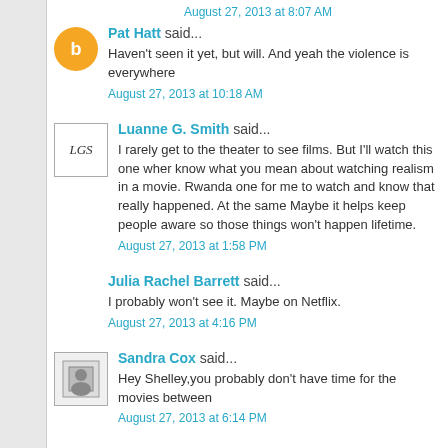August 27, 2013 at 8:07 AM
Pat Hatt said...
Haven't seen it yet, but will. And yeah the violence is everywhere
August 27, 2013 at 10:18 AM
Luanne G. Smith said...
I rarely get to the theater to see films. But I'll watch this one when I know what you mean about watching realism in a movie. Rwanda one for me to watch and know that really happened. At the same Maybe it helps keep people aware so those things won't happen lifetime.
August 27, 2013 at 1:58 PM
Julia Rachel Barrett said...
I probably won't see it. Maybe on Netflix.
August 27, 2013 at 4:16 PM
Sandra Cox said...
Hey Shelley,you probably don't have time for the movies between
August 27, 2013 at 6:14 PM